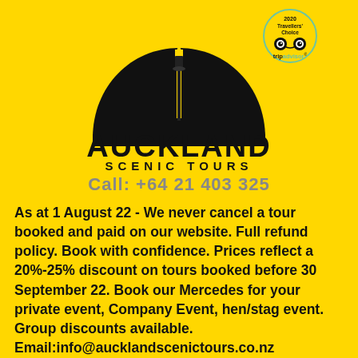[Figure (logo): Auckland Scenic Tours logo: black arch with city skyline silhouette and Sky Tower, large text AUCKLAND SCENIC TOURS. TripAdvisor 2020 Travellers Choice badge in top right.]
Call: +64 21 403 325
As at 1 August 22 - We never cancel a tour booked and paid on our website. Full refund policy. Book with confidence. Prices reflect a 20%-25% discount on tours booked before 30 September 22. Book our Mercedes for your private event, Company Event, hen/stag event. Group discounts available. Email:info@aucklandscenictours.co.nz